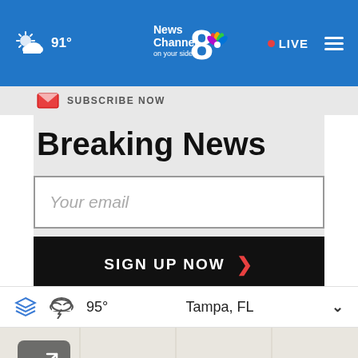91° News Channel 8 on your side · LIVE
SUBSCRIBE NOW
Breaking News
Your email
SIGN UP NOW
95° Tampa, FL
[Figure (map): Interactive weather map showing Tampa FL area, with expand/collapse button in lower left]